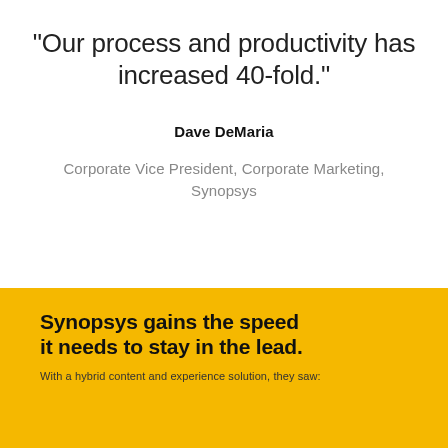"Our process and productivity has increased 40-fold."
Dave DeMaria
Corporate Vice President, Corporate Marketing, Synopsys
Synopsys gains the speed it needs to stay in the lead.
With a hybrid content and experience solution, they saw: